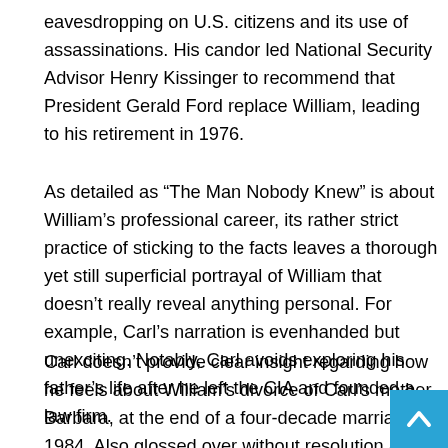eavesdropping on U.S. citizens and its use of assassinations. His candor led National Security Advisor Henry Kissinger to recommend that President Gerald Ford replace William, leading to his retirement in 1976.
As detailed as “The Man Nobody Knew” is about William’s professional career, its rather strict practice of sticking to the facts leaves a thorough yet still superficial portrayal of William that doesn’t really reveal anything personal. For example, Carl’s narration is evenhanded but unexciting. Notably, Carl avoids exploring his father’s life after he left the CIA and founded a law firm.
Carl doesn’t provide clear insight regarding how he feels about William’s divorce of Carl’s mother, Barbara, at the end of a four-decade marriage in 1984. Also glossed over without resolution are Carl’s emotions about William’s 1994 death